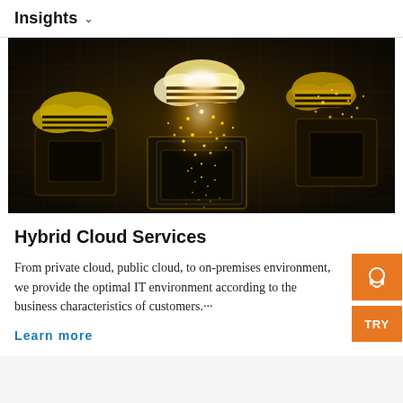Insights
[Figure (photo): 3D render of glowing cloud icons above circuit board CPUs with bright orange/gold particle lights on a dark background, representing hybrid cloud computing.]
Hybrid Cloud Services
From private cloud, public cloud, to on-premises environment, we provide the optimal IT environment according to the business characteristics of customers.···
Learn more